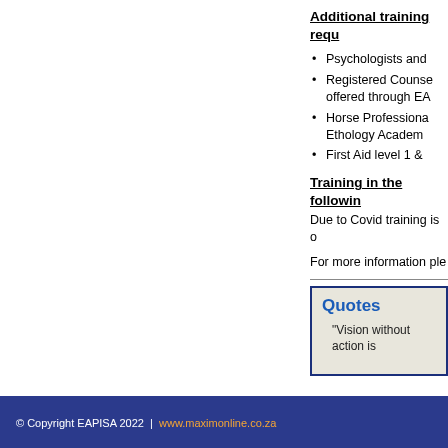Additional training requ…
Psychologists and…
Registered Counse… offered through EA…
Horse Professiona… Ethology Academ…
First Aid level 1 &…
Training in the followin…
Due to Covid training is o…
For more information ple…
Quotes
"Vision without action is…
© Copyright EAPISA 2022  |  www.maximonline.co.za